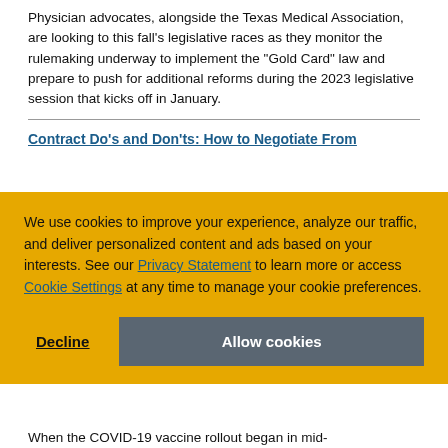Physician advocates, alongside the Texas Medical Association, are looking to this fall's legislative races as they monitor the rulemaking underway to implement the "Gold Card" law and prepare to push for additional reforms during the 2023 legislative session that kicks off in January.
Contract Do's and Don'ts: How to Negotiate From
We use cookies to improve your experience, analyze our traffic, and deliver personalized content and ads based on your interests. See our Privacy Statement to learn more or access Cookie Settings at any time to manage your cookie preferences.
When the COVID-19 vaccine rollout began in mid-